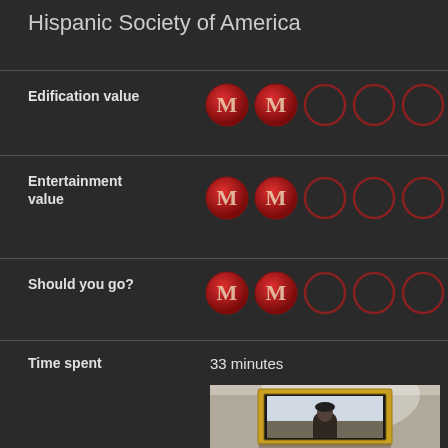Hispanic Society of America
Edification value
[Figure (infographic): Rating display showing 2 out of 5 filled red medallion circles with M logo for Edification value]
Entertainment value
[Figure (infographic): Rating display showing 2 out of 5 filled red medallion circles with M logo for Entertainment value]
Should you go?
[Figure (infographic): Rating display showing 2 out of 5 filled red medallion circles with M logo for Should you go?]
Time spent	33 minutes
[Figure (photo): Photograph of a framed painting at the Hispanic Society of America, showing a portrait of a woman in dark clothing against a light background, displayed in an ornate gold frame on a museum wall]